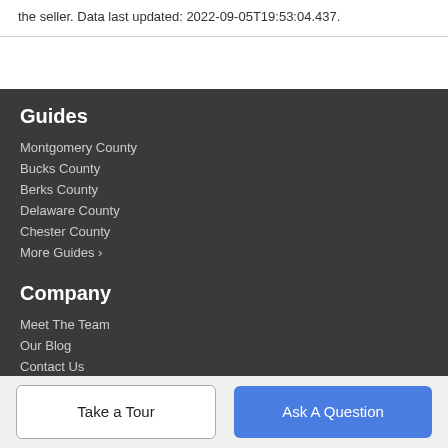the seller. Data last updated: 2022-09-05T19:53:04.437.
Guides
Montgomery County
Bucks County
Berks County
Delaware County
Chester County
More Guides ›
Company
Meet The Team
Our Blog
Contact Us